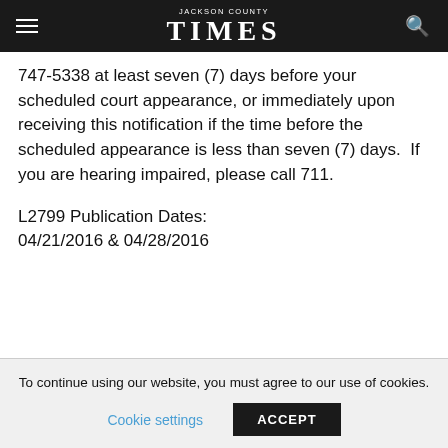Jackson County Times
747-5338 at least seven (7) days before your scheduled court appearance, or immediately upon receiving this notification if the time before the scheduled appearance is less than seven (7) days.  If you are hearing impaired, please call 711.
L2799 Publication Dates:
04/21/2016 & 04/28/2016